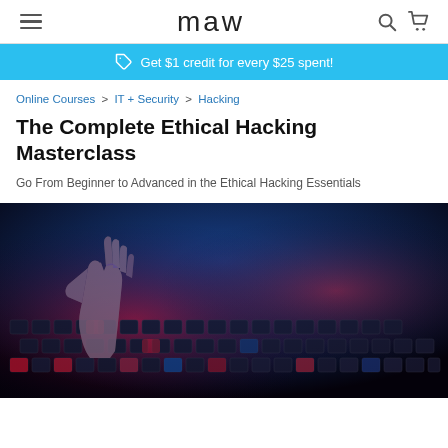maw
Get $1 credit for every $25 spent!
Online Courses > IT + Security > Hacking
The Complete Ethical Hacking Masterclass
Go From Beginner to Advanced in the Ethical Hacking Essentials
[Figure (photo): Close-up photo of a hand typing on a backlit keyboard with blue and red lighting, in a dark environment suggesting hacking or cybersecurity context.]